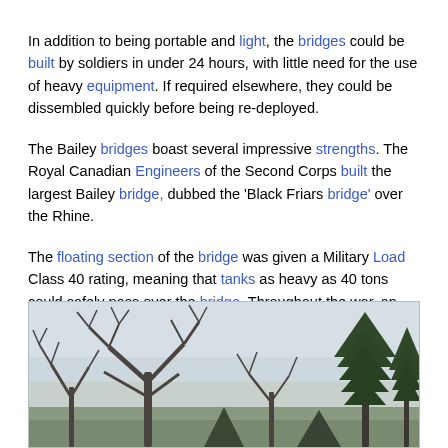In addition to being portable and light, the bridges could be built by soldiers in under 24 hours, with little need for the use of heavy equipment. If required elsewhere, they could be dissembled quickly before being re-deployed.
The Bailey bridges boast several impressive strengths. The Royal Canadian Engineers of the Second Corps built the largest Bailey bridge, dubbed the 'Black Friars bridge' over the Rhine.
The floating section of the bridge was given a Military Load Class 40 rating, meaning that tanks as heavy as 40 tons could safely pass over the bridge. Throughout the war, an incredible 70,000 panels were manufactured and assembled into Bailey bridges – that's long enough to stretch from London to Saint Petersburg, Russia!
[Figure (photo): A winter landscape photo showing bare trees in the foreground and evergreen trees on the right side, with an overcast pale sky in the background.]